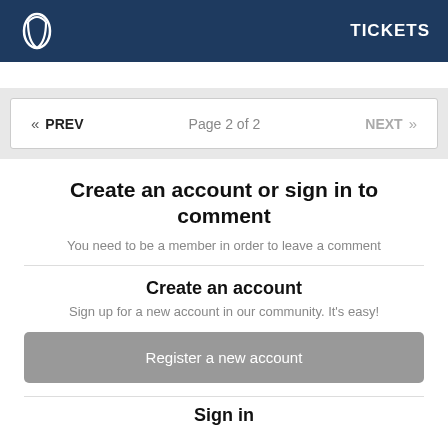TICKETS
« PREV   Page 2 of 2   NEXT »
Create an account or sign in to comment
You need to be a member in order to leave a comment
Create an account
Sign up for a new account in our community. It's easy!
Register a new account
Sign in